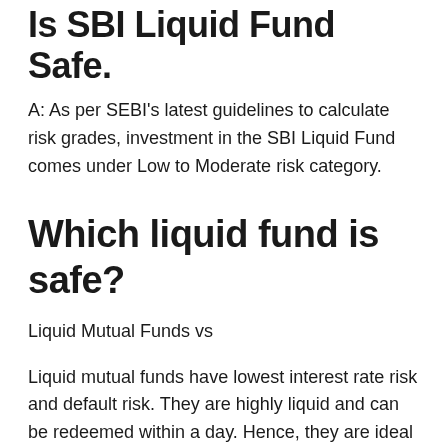Is SBI Liquid Fund Safe?
A: As per SEBI's latest guidelines to calculate risk grades, investment in the SBI Liquid Fund comes under Low to Moderate risk category.
Which liquid fund is safe?
Liquid Mutual Funds vs
Liquid mutual funds have lowest interest rate risk and default risk. They are highly liquid and can be redeemed within a day. Hence, they are ideal for parking short term surplus cash or creating an emergency fund. Liquid mutual fund is the safest type of debt fund in India.